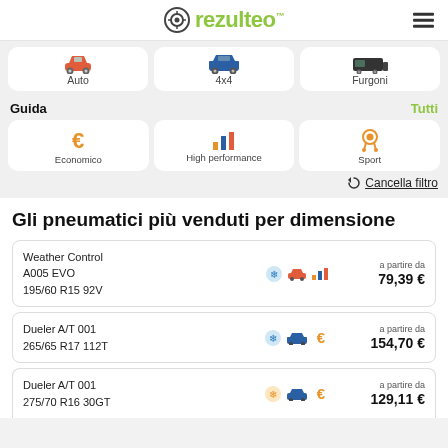rezulteo
[Figure (infographic): Vehicle category icons: Auto (red car), 4x4 (blue SUV), Furgoni (dark van)]
Guida
Tutti
[Figure (infographic): Guide category icons: Economico (orange euro), High performance (bar chart), Sport (medal)]
Cancella filtro
Gli pneumatici più venduti per dimensione
Weather Control A005 EVO 195/60 R15 92V
a partire da
79,39 €
Dueler A/T 001 265/65 R17 112T
a partire da
154,70 €
Dueler A/T 001 275/70 R16 30GT
a partire da
129,11 €